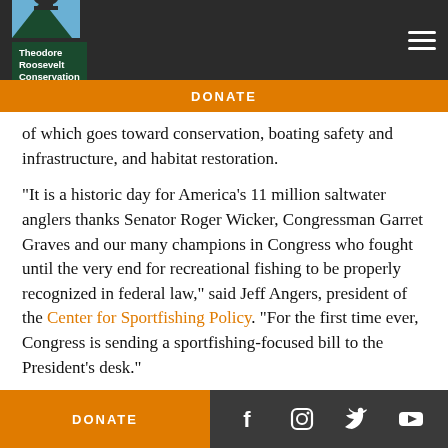[Figure (logo): Theodore Roosevelt Conservation Partnership logo with hat icon and green background text]
DONATE
of which goes toward conservation, boating safety and infrastructure, and habitat restoration.
“It is a historic day for America’s 11 million saltwater anglers thanks Senator Roger Wicker, Congressman Garret Graves and our many champions in Congress who fought until the very end for recreational fishing to be properly recognized in federal law,” said Jeff Angers, president of the Center for Sportfishing Policy. “For the first time ever, Congress is sending a sportfishing-focused bill to the President’s desk.”
DONATE
[Figure (other): Social media icons: Facebook, Instagram, Twitter, YouTube]